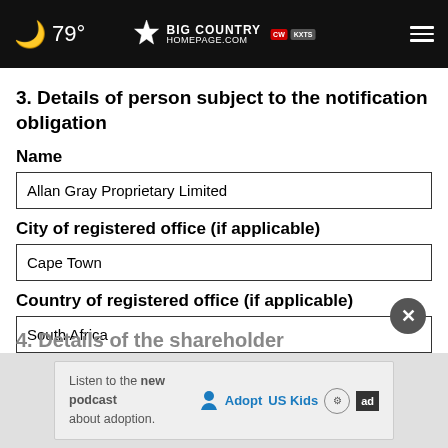🌙 79° [Big Country Homepage logo] ≡
3. Details of person subject to the notification obligation
Name
| Name |
| --- |
| Allan Gray Proprietary Limited |
City of registered office (if applicable)
| City |
| --- |
| Cape Town |
Country of registered office (if applicable)
| Country |
| --- |
| South Africa |
4. Details of the shareholder
[Figure (screenshot): Advertisement banner: Listen to the new podcast about adoption. AdoptUSKids logo and ad badge.]